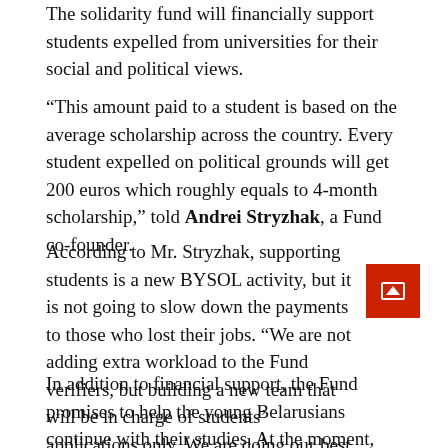The solidarity fund will financially support students expelled from universities for their social and political views.
“This amount paid to a student is based on the average scholarship across the country. Every student expelled on political grounds will get 200 euros which roughly equals to 4-month scholarship,” told Andrei Stryzhak, a Fund co-founder.
According to Mr. Stryzhak, supporting students is a new BYSOL activity, but it is not going to slow down the payments to those who lost their jobs. “We are not adding extra workload to the Fund verifiers, but building a new team that will be in charge of students’ applications only. We are doing our best to proceed the payments even faster.”
In addition to financial support, the Fund promises to help the young Belarusians continue with their studies. At the moment, Vilnius University, European Humanities University, universities in Latvia and Slovakia are ready to welcome new students from Belarus. The Kalinowski Scholarship Program in